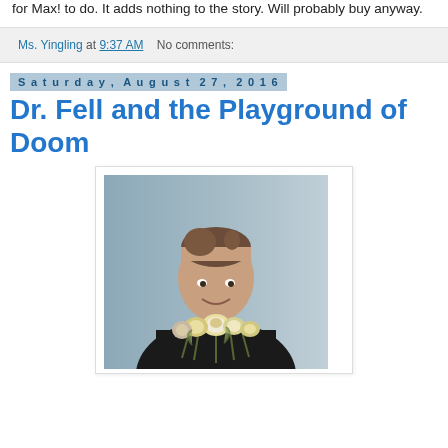for Max! to do. It adds nothing to the story. Will probably buy anyway.
Ms. Yingling at 9:37 AM   No comments:
Saturday, August 27, 2016
Dr. Fell and the Playground of Doom
[Figure (photo): A man in a dark jacket holding a bouquet of wilted/drooping roses and flowers toward the camera, smiling, against a light blue-grey background.]